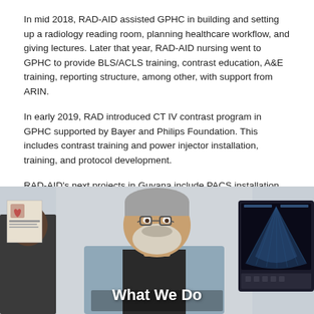In mid 2018, RAD-AID assisted GPHC in building and setting up a radiology reading room, planning healthcare workflow, and giving lectures. Later that year, RAD-AID nursing went to GPHC to provide BLS/ACLS training, contrast education, A&E training, reporting structure, among other, with support from ARIN.
In early 2019, RAD introduced CT IV contrast program in GPHC supported by Bayer and Philips Foundation. This includes contrast training and power injector installation, training, and protocol development.
RAD-AID's next projects in Guyana include PACS installation, breast imaging program, and nursing.
[Figure (photo): A doctor in a light blue lab coat with glasses and a white beard, sitting and speaking with someone. A medical ultrasound monitor is visible in the background. The text 'What We Do' is overlaid at the bottom center of the image.]